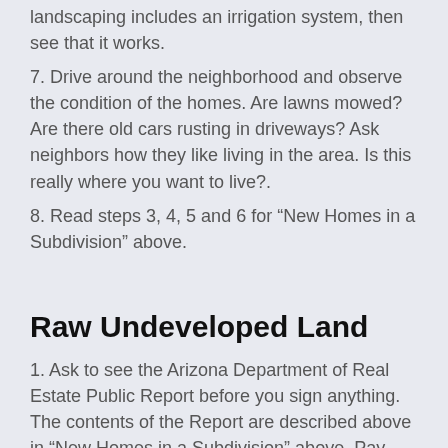landscaping includes an irrigation system, then see that it works.
7. Drive around the neighborhood and observe the condition of the homes. Are lawns mowed? Are there old cars rusting in driveways? Ask neighbors how they like living in the area. Is this really where you want to live?.
8. Read steps 3, 4, 5 and 6 for “New Homes in a Subdivision” above.
Raw Undeveloped Land
1. Ask to see the Arizona Department of Real Estate Public Report before you sign anything. The contents of the Report are described above in “New Homes in a Subdivision” above. Pay particular attention to the source of utility services. You may find that bringing utilities to the property will be an